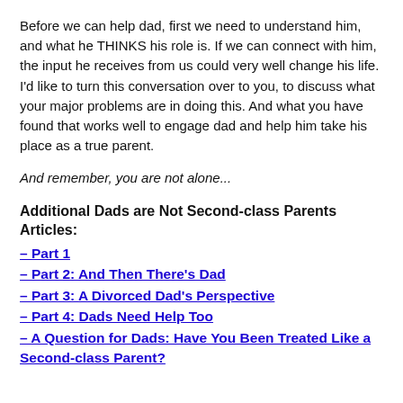Before we can help dad, first we need to understand him, and what he THINKS his role is. If we can connect with him, the input he receives from us could very well change his life. I'd like to turn this conversation over to you, to discuss what your major problems are in doing this. And what you have found that works well to engage dad and help him take his place as a true parent.
And remember, you are not alone...
Additional Dads are Not Second-class Parents Articles:
– Part 1
– Part 2: And Then There's Dad
– Part 3: A Divorced Dad's Perspective
– Part 4: Dads Need Help Too
– A Question for Dads: Have You Been Treated Like a Second-class Parent?